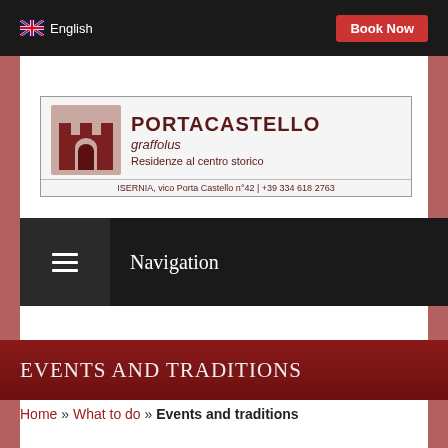English  Book Now
[Figure (logo): Portacastello Graffolus logo — castle icon with text: PORTACASTELLO graffolus, Residenze al centro storico, ISERNIA, vico Porta Castello n°42 | +39 334 618 2763]
Navigation
EVENTS AND TRADITIONS
Home » What to do » Events and traditions